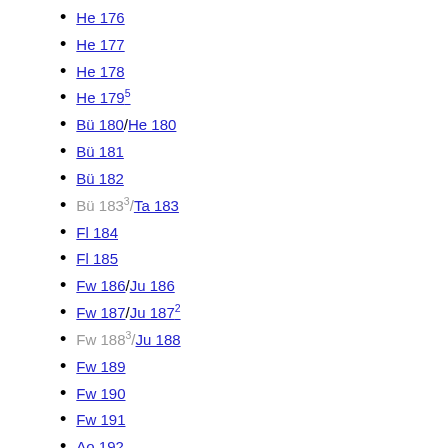He 176
He 177
He 178
He 179⁵
Bü 180/He 180
Bü 181
Bü 182
Bü 183³/Ta 183
Fl 184
Fl 185
Fw 186/Ju 186
Fw 187/Ju 187²
Fw 188³/Ju 188
Fw 189
Fw 190
Fw 191
Ao 192
Ao 193³/DFS 193
DFS 194/Me 194
Ar 195
Ar 196
Ar 197
Ar 198
Ar 199